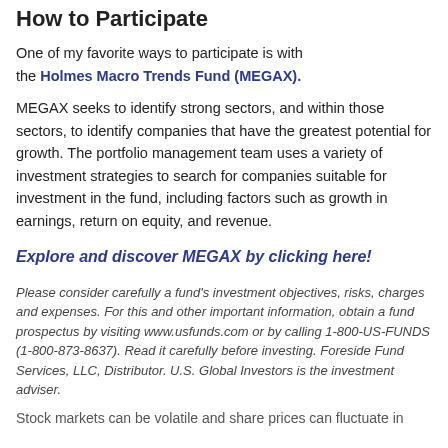How to Participate
One of my favorite ways to participate is with the Holmes Macro Trends Fund (MEGAX).
MEGAX seeks to identify strong sectors, and within those sectors, to identify companies that have the greatest potential for growth. The portfolio management team uses a variety of investment strategies to search for companies suitable for investment in the fund, including factors such as growth in earnings, return on equity, and revenue.
Explore and discover MEGAX by clicking here!
Please consider carefully a fund's investment objectives, risks, charges and expenses. For this and other important information, obtain a fund prospectus by visiting www.usfunds.com or by calling 1-800-US-FUNDS (1-800-873-8637). Read it carefully before investing. Foreside Fund Services, LLC, Distributor. U.S. Global Investors is the investment adviser.
Stock markets can be volatile and share prices can fluctuate in